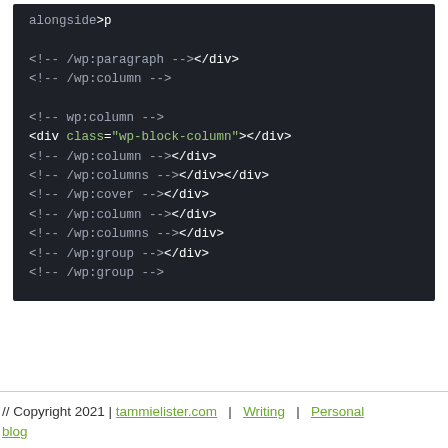[Figure (screenshot): Code block showing WordPress block editor HTML markup with comments like <!-- /wp:paragraph --></div>, <!-- /wp:column -->, <!-- wp:column -->, <div class="wp-block-column"></div>, <!-- /wp:column --></div>, <!-- /wp:columns --></div></div>, <!-- /wp:cover --></div>, <!-- /wp:column --></div>, <!-- /wp:columns --></div>, <!-- /wp:group --></div>, <!-- /wp:group -->]
// Copyright 2021 | tammielister.com | Writing | Personal blog